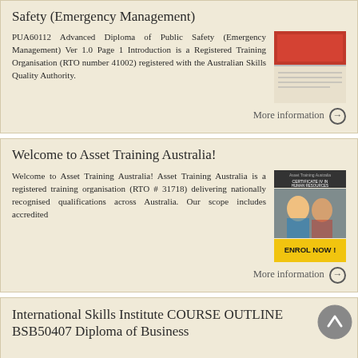Safety (Emergency Management)
PUA60112 Advanced Diploma of Public Safety (Emergency Management) Ver 1.0 Page 1 Introduction is a Registered Training Organisation (RTO number 41002) registered with the Australian Skills Quality Authority.
[Figure (photo): Thumbnail image related to Public Safety course]
More information →
Welcome to Asset Training Australia!
Welcome to Asset Training Australia! Asset Training Australia is a registered training organisation (RTO # 31718) delivering nationally recognised qualifications across Australia. Our scope includes accredited
[Figure (photo): Asset Training Australia promotional image with ENROL NOW text]
More information →
International Skills Institute COURSE OUTLINE BSB50407 Diploma of Business